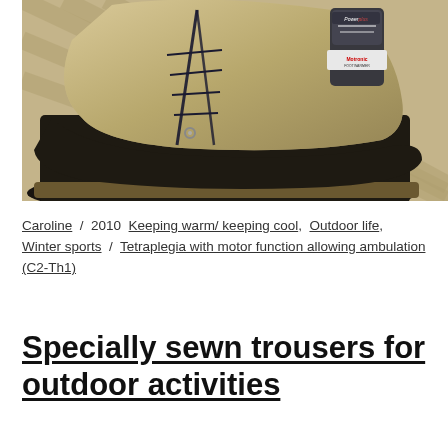[Figure (photo): Close-up photograph of a winter/snow boot (tan suede upper with black rubber lower) with a Motronic footwarmer device clipped to the top, resting on a herringbone wood floor.]
Caroline / 2010 Keeping warm/ keeping cool, Outdoor life, Winter sports / Tetraplegia with motor function allowing ambulation (C2-Th1)
Specially sewn trousers for outdoor activities